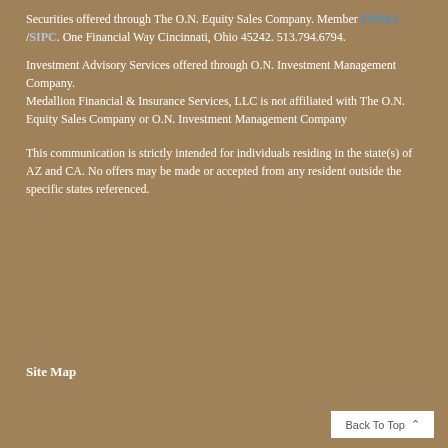Securities offered through The O.N. Equity Sales Company. Member FINRA /SIPC. One Financial Way Cincinnati, Ohio 45242. 513.794.6794.
Investment Advisory Services offered through O.N. Investment Management Company.
Medallion Financial & Insurance Services, LLC is not affiliated with The O.N. Equity Sales Company or O.N. Investment Management Company
This communication is strictly intended for individuals residing in the state(s) of AZ and CA. No offers may be made or accepted from any resident outside the specific states referenced.
Site Map
Back To Top